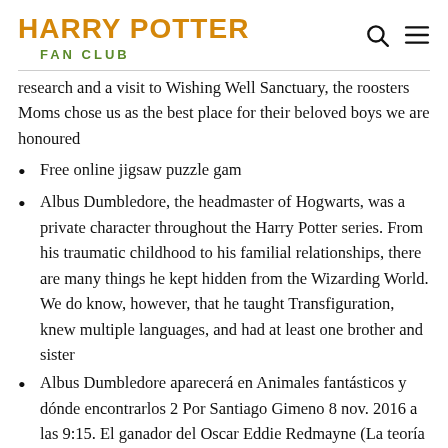HARRY POTTER FAN CLUB
research and a visit to Wishing Well Sanctuary, the roosters Moms chose us as the best place for their beloved boys we are honoured
Free online jigsaw puzzle gam
Albus Dumbledore, the headmaster of Hogwarts, was a private character throughout the Harry Potter series. From his traumatic childhood to his familial relationships, there are many things he kept hidden from the Wizarding World. We do know, however, that he taught Transfiguration, knew multiple languages, and had at least one brother and sister
Albus Dumbledore aparecerá en Animales fantásticos y dónde encontrarlos 2 Por Santiago Gimeno 8 nov. 2016 a las 9:15. El ganador del Oscar Eddie Redmayne (La teoría del todo.
According to J.K. Rowlings Pottermore website for